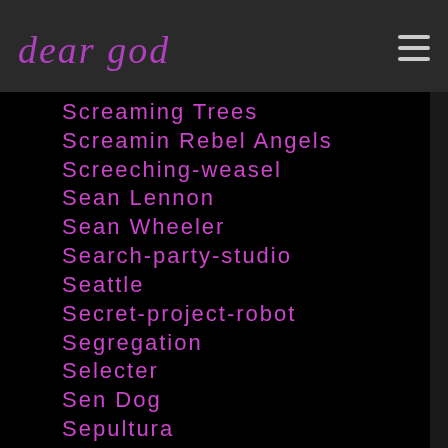dear god
Screaming Trees
Screamin Rebel Angels
Screeching-weasel
Sean Lennon
Sean Wheeler
Search-party-studio
Seattle
Secret-project-robot
Segregation
Selecter
Sen Dog
Sepultura
Serbia
Sergei Rachmaninoff
Serra Petale
Seun Kuti
Sevendust